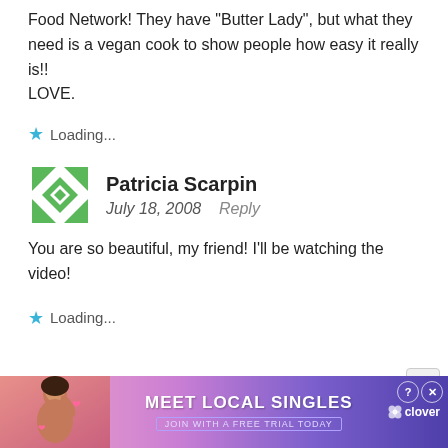Food Network! They have 'Butter Lady', but what they need is a vegan cook to show people how easy it really is!!
LOVE.
Loading...
Patricia Scarpin
July 18, 2008   Reply
You are so beautiful, my friend! I'll be watching the video!
Loading...
[Figure (infographic): Meet Local Singles advertisement banner with woman photo, pink-to-purple gradient, Clover app branding]